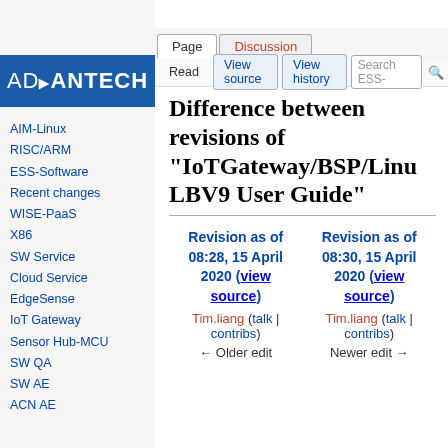Log in
[Figure (logo): Advantech logo: white bold text 'ADVANTECH' on dark blue background]
AIM-Linux
RISC/ARM
ESS-Software
Recent changes
WISE-PaaS
X86
SW Service
Cloud Service
EdgeSense
IoT Gateway
Sensor Hub-MCU
SW QA
SW AE
ACN AE
Difference between revisions of "IoTGateway/BSP/Linux/LBV9 User Guide"
| Revision as of 08:28, 15 April 2020 | Revision as of 08:30, 15 April 2020 |
| --- | --- |
| (view source) | (view source) |
| Tim.liang (talk | contribs) | Tim.liang (talk | contribs) |
| ← Older edit | Newer edit → |